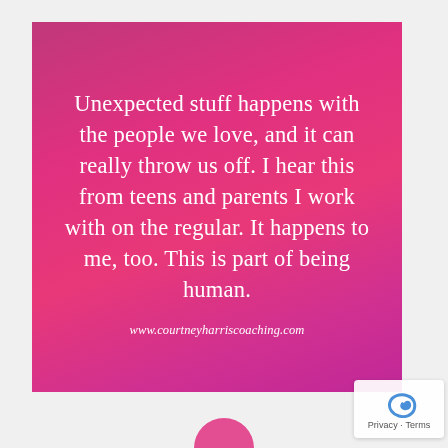Unexpected stuff happens with the people we love, and it can really throw us off. I hear this from teens and parents I work with on the regular. It happens to me, too. This is part of being human.
www.courtneyharriscoaching.com